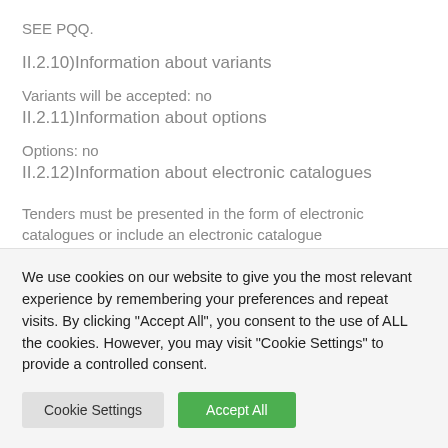SEE PQQ.
II.2.10)Information about variants
Variants will be accepted: no
II.2.11)Information about options
Options: no
II.2.12)Information about electronic catalogues
Tenders must be presented in the form of electronic catalogues or include an electronic catalogue
We use cookies on our website to give you the most relevant experience by remembering your preferences and repeat visits. By clicking "Accept All", you consent to the use of ALL the cookies. However, you may visit "Cookie Settings" to provide a controlled consent.